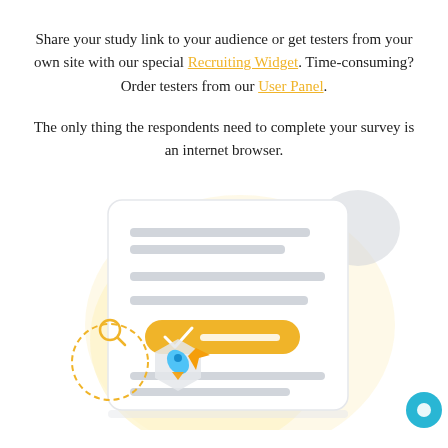Share your study link to your audience or get testers from your own site with our special Recruiting Widget. Time-consuming? Order testers from our User Panel.
The only thing the respondents need to complete your survey is an internet browser.
[Figure (illustration): Illustration of a survey/form document with lines representing text fields, a yellow submit button with a checkmark, a small hexagon badge with a rocket icon on the lower left, a dashed circle arc, a search icon, and a gray blob shape in the upper right. The background has a large pale yellow curved shape.]